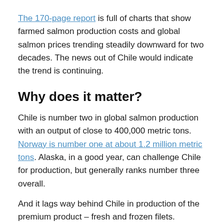The 170-page report is full of charts that show farmed salmon production costs and global salmon prices trending steadily downward for two decades. The news out of Chile would indicate the trend is continuing.
Why does it matter?
Chile is number two in global salmon production with an output of close to 400,000 metric tons. Norway is number one at about 1.2 million metric tons. Alaska, in a good year, can challenge Chile for production, but generally ranks number three overall.
And it lags way behind Chile in production of the premium product – fresh and frozen filets.
[Read more at CraigMedred news.]